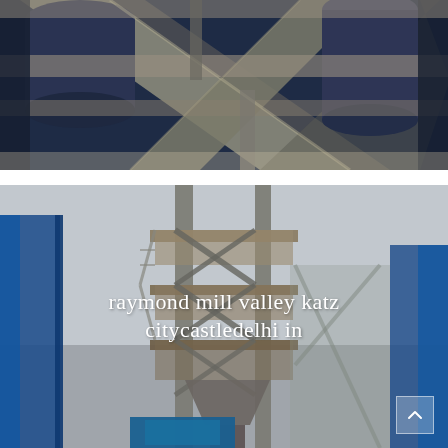[Figure (photo): Close-up industrial photo of heavy machinery, structural steel beams forming an X pattern with metal silos/cylinders in a dark blue-grey industrial setting]
[Figure (photo): Industrial photo of a tall tower structure with scaffolding, stairs, platforms, and a blue container at the base — likely a raymond mill or industrial processing tower against a grey sky]
raymond mill valley katz citycastledelhi in